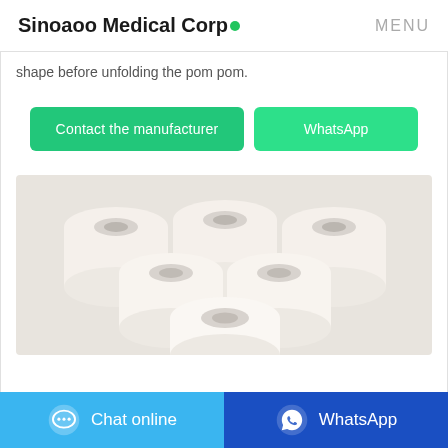Sinoaoo Medical Corp • MENU
shape before unfolding the pom pom.
Contact the manufacturer | WhatsApp
[Figure (photo): Stack of white toilet paper rolls arranged in a pyramid shape on a light background]
Chat online | WhatsApp